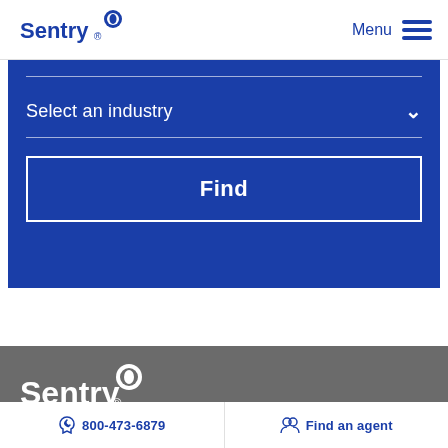Sentry | Menu
Select an industry
Find
[Figure (logo): Sentry insurance logo in white on gray background in footer]
[Figure (other): Social media icons: Facebook, Twitter/X, LinkedIn, Instagram in footer]
800-473-6879 | Find an agent